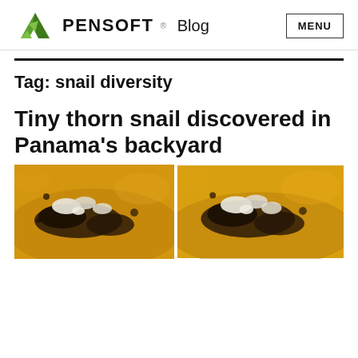PENSOFT Blog  MENU
Tag: snail diversity
Tiny thorn snail discovered in Panama's backyard
[Figure (photo): Two close-up photographs of tiny thorn snails with white shell features against an orange/yellow background, side by side.]